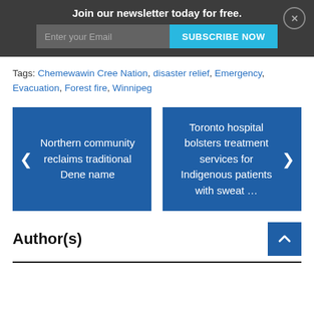Join our newsletter today for free.
Enter your Email | SUBSCRIBE NOW
Tags: Chemewawin Cree Nation, disaster relief, Emergency, Evacuation, Forest fire, Winnipeg
[Figure (other): Navigation card with left arrow and text: Northern community reclaims traditional Dene name]
[Figure (other): Navigation card with right arrow and text: Toronto hospital bolsters treatment services for Indigenous patients with sweat ...]
Author(s)